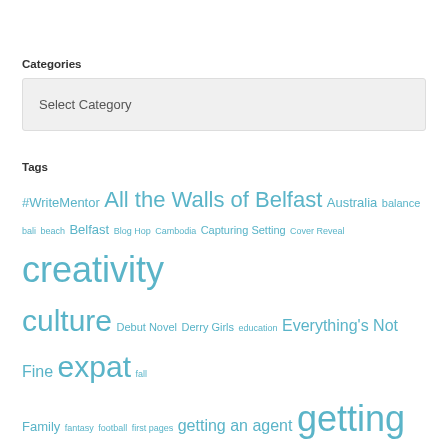Categories
Select Category
Tags
#WriteMentor All the Walls of Belfast Australia balance bali beach Belfast Blog Hop Cambodia Capturing Setting Cover Reveal creativity culture Debut Novel Derry Girls education Everything's Not Fine expat fall Family fantasy football first pages getting an agent getting published Green Bay Packers Hobbiton Horror Humor I'm going on an adventure Musings New Book Release New Years perserverance photography PitchWars portraits Query Letters Race randomness relax Research running self-doubt Self-Publishing Singapore Swag Synopsis The Troubles travel vacation Vietnam